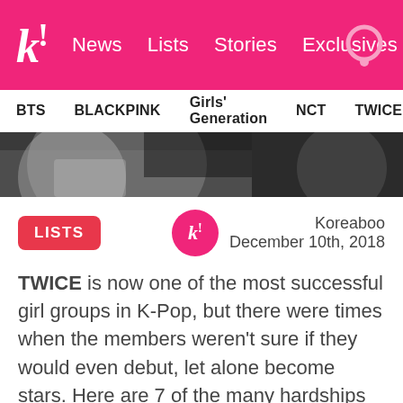k! News Lists Stories Exclusives
BTS BLACKPINK Girls' Generation NCT TWICE aespa
[Figure (photo): Cropped photo of K-pop performers, dark background]
LISTS
Koreaboo December 10th, 2018
TWICE is now one of the most successful girl groups in K-Pop, but there were times when the members weren't sure if they would even debut, let alone become stars. Here are 7 of the many hardships TWICE faced as trainees.
1. Jihyo's 10 year struggle to debut